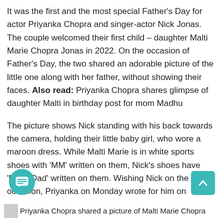It was the first and the most special Father's Day for actor Priyanka Chopra and singer-actor Nick Jonas. The couple welcomed their first child – daughter Malti Marie Chopra Jonas in 2022. On the occasion of Father's Day, the two shared an adorable picture of the little one along with her father, without showing their faces. Also read: Priyanka Chopra shares glimpse of daughter Malti in birthday post for mom Madhu
The picture shows Nick standing with his back towards the camera, holding their little baby girl, who wore a maroon dress. While Malti Marie is in white sports shoes with 'MM' written on them, Nick's shoes have 'MM's Dad' written on them. Wishing Nick on the occasion, Priyanka on Monday wrote for him on Instagram, "Happy 1st Father's Day my love. To watch you with our little girl is my greatest joy.. what an amazing day to come back home… I love you.. here's to many more."
Priyanka Chopra shared a picture of Malti Marie Chopra